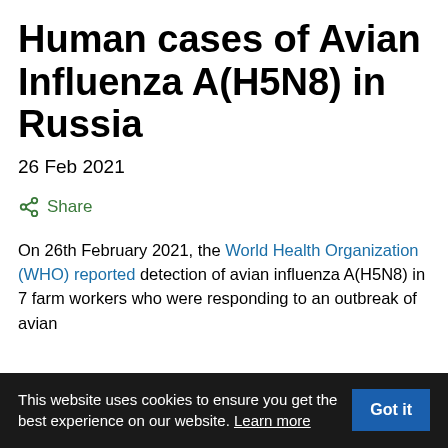Human cases of Avian Influenza A(H5N8) in Russia
26 Feb 2021
Share
On 26th February 2021, the World Health Organization (WHO) reported detection of avian influenza A(H5N8) in 7 farm workers who were responding to an outbreak of avian
This website uses cookies to ensure you get the best experience on our website. Learn more